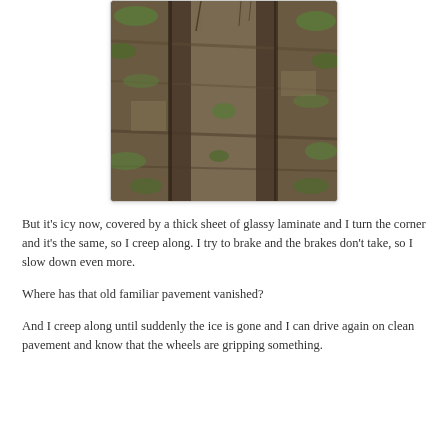[Figure (photo): Photograph of a muddy dirt track or path with tire ruts running through it, surrounded by sparse grass and dirt, taken from above looking down the track.]
But it's icy now, covered by a thick sheet of glassy laminate and I turn the corner and it's the same, so I creep along. I try to brake and the brakes don't take, so I slow down even more.
Where has that old familiar pavement vanished?
And I creep along until suddenly the ice is gone and I can drive again on clean pavement and know that the wheels are gripping something.